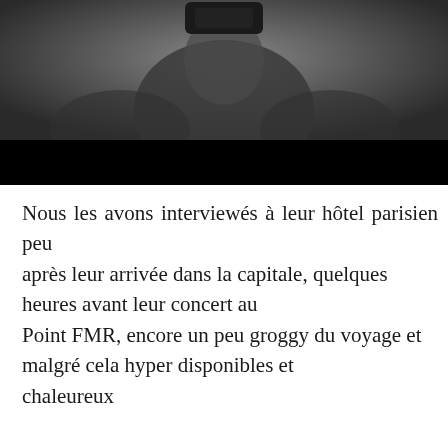[Figure (photo): Black and white photograph showing a blurred figure, partially visible, with a dark rectangular shape at the top center. The bottom portion of the image is a solid black bar.]
Nous les avons interviewés à leur hôtel parisien peu après leur arrivée dans la capitale, quelques heures avant leur concert au Point FMR, encore un peu groggy du voyage et malgré cela hyper disponibles et chaleureux